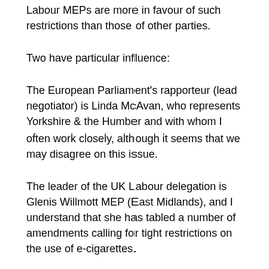Labour MEPs are more in favour of such restrictions than those of other parties.
Two have particular influence:
The European Parliament's rapporteur (lead negotiator) is Linda McAvan, who represents Yorkshire & the Humber and with whom I often work closely, although it seems that we may disagree on this issue.
The leader of the UK Labour delegation is Glenis Willmott MEP (East Midlands), and I understand that she has tabled a number of amendments calling for tight restrictions on the use of e-cigarettes.
The responses I received to my consultation can be found on my website and if you want to fill in my general survey on my